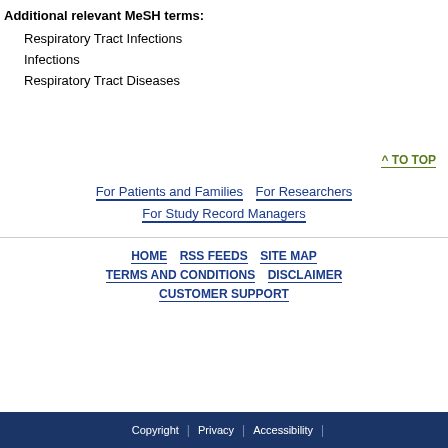Additional relevant MeSH terms:
Respiratory Tract Infections
Infections
Respiratory Tract Diseases
^ TO TOP
For Patients and Families  For Researchers  For Study Record Managers
HOME  RSS FEEDS  SITE MAP  TERMS AND CONDITIONS  DISCLAIMER  CUSTOMER SUPPORT
Copyright | Privacy | Accessibility |